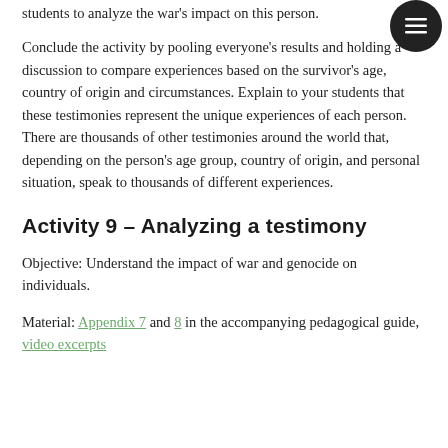students to analyze the war's impact on this person.
Conclude the activity by pooling everyone's results and holding a discussion to compare experiences based on the survivor's age, country of origin and circumstances. Explain to your students that these testimonies represent the unique experiences of each person. There are thousands of other testimonies around the world that, depending on the person's age group, country of origin, and personal situation, speak to thousands of different experiences.
Activity 9 – Analyzing a testimony
Objective: Understand the impact of war and genocide on individuals.
Material: Appendix 7 and 8 in the accompanying pedagogical guide, video excerpts